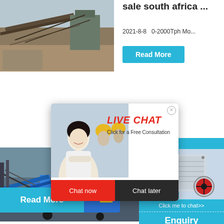[Figure (photo): Industrial conveyor belt machinery at a mining or quarry site]
sale south africa ...
2021-8-8   0-2000Tph Mo...
Read More
[Figure (photo): Mining/quarry machinery with blue equipment and conveyor]
[Figure (photo): Live chat popup with workers in yellow hard hats]
LIVE CHAT
Click for a Free Consultation
Chat now
Chat later
hour online
[Figure (photo): Industrial crusher machine in gray with red wheel]
Click me to chat>>
2021-6-2
Read More
Enquiry
limingjlmofen